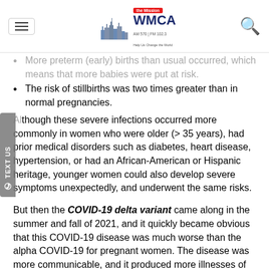WMCA - The Mission AM 570 | FM 102.3
More preterm (early) births than usual occurred, which means that more babies were put at risk.
The risk of stillbirths was two times greater than in normal pregnancies.
Although these severe infections occurred more commonly in women who were older (> 35 years), had prior medical disorders such as diabetes, heart disease, hypertension, or had an African-American or Hispanic heritage, younger women could also develop severe symptoms unexpectedly, and underwent the same risks.
But then the COVID-19 delta variant came along in the summer and fall of 2021, and it quickly became obvious that this COVID-19 disease was much worse than the alpha COVID-19 for pregnant women. The disease was more communicable, and it produced more illnesses of